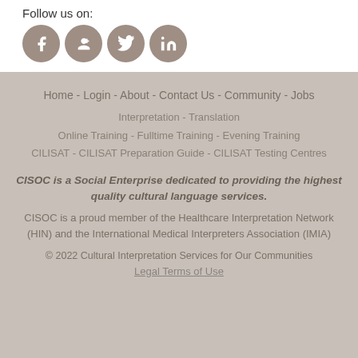Follow us on:
[Figure (illustration): Four circular social media icons (Facebook, Google+, Twitter, LinkedIn) in brownish-gray color]
Home  -  Login  -  About  -  Contact Us  -  Community  -  Jobs
Interpretation  -  Translation
Online Training  -  Fulltime Training  -  Evening Training
CILISAT  -  CILISAT Preparation Guide  -  CILISAT Testing Centres
CISOC is a Social Enterprise dedicated to providing the highest quality cultural language services.
CISOC is a proud member of the Healthcare Interpretation Network (HIN) and the International Medical Interpreters Association (IMIA)
© 2022 Cultural Interpretation Services for Our Communities
Legal Terms of Use